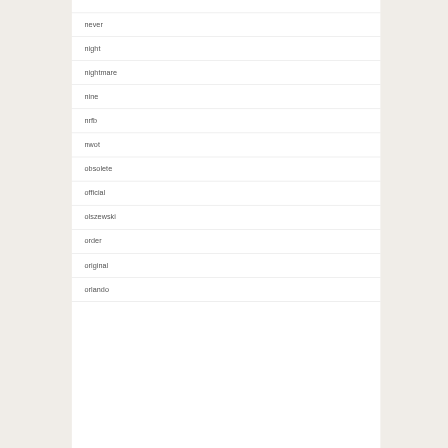never
night
nightmare
nine
nrfb
nwot
obsolete
official
olszewski
order
original
orlando